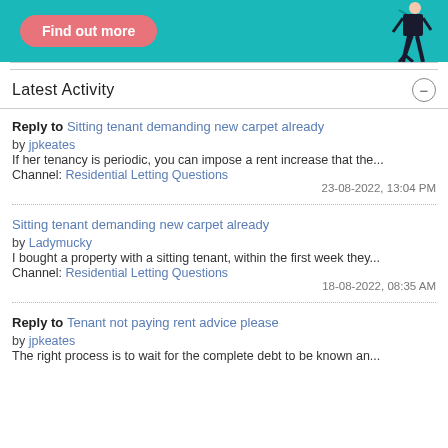[Figure (illustration): Teal advertisement banner with a pink 'Find out more' button and a figure of a person on the right side.]
Latest Activity
Reply to Sitting tenant demanding new carpet already
by jpkeates
If her tenancy is periodic, you can impose a rent increase that the...
Channel: Residential Letting Questions
23-08-2022, 13:04 PM
Sitting tenant demanding new carpet already
by Ladymucky
I bought a property with a sitting tenant, within the first week they...
Channel: Residential Letting Questions
18-08-2022, 08:35 AM
Reply to Tenant not paying rent advice please
by jpkeates
The right process is to wait for the complete debt to be known an...